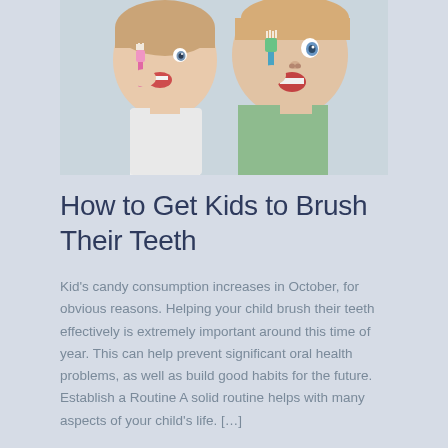[Figure (photo): Two young children brushing their teeth with colorful toothbrushes (pink and blue/green), close-up photo]
How to Get Kids to Brush Their Teeth
Kid's candy consumption increases in October, for obvious reasons. Helping your child brush their teeth effectively is extremely important around this time of year. This can help prevent significant oral health problems, as well as build good habits for the future. Establish a Routine A solid routine helps with many aspects of your child's life. […]
Details »